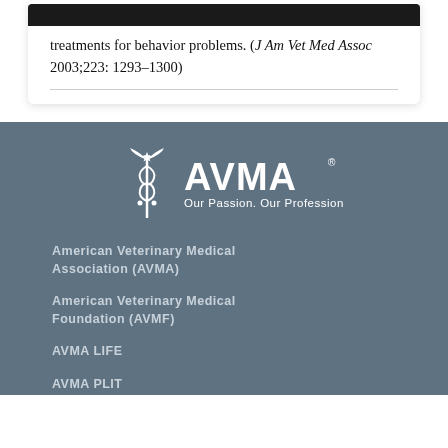treatments for behavior problems. (J Am Vet Med Assoc 2003;223: 1293–1300)
[Figure (logo): AVMA logo with caduceus symbol and tagline 'Our Passion. Our Profession.']
American Veterinary Medical Association (AVMA)
American Veterinary Medical Foundation (AVMF)
AVMA LIFE
AVMA PLIT